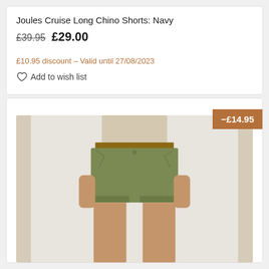Joules Cruise Long Chino Shorts: Navy
£39.95 £29.00
£10.95 discount – Valid until 27/08/2023
Add to wish list
[Figure (photo): Model wearing olive green long chino shorts with a brown belt, showing waist to below knee. White background. Discount badge showing -£14.95 in top right corner.]